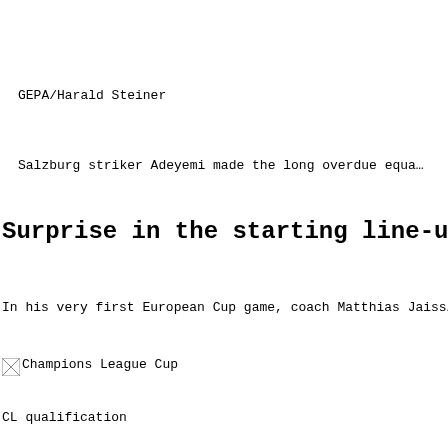GEPA/Harald Steiner
Salzburg striker Adeyemi made the long overdue equa…
Surprise in the starting line-up
In his very first European Cup game, coach Matthias Jaiss…
[Figure (other): Champions League Cup image/icon (broken image placeholder)]
Champions League Cup
CL qualification